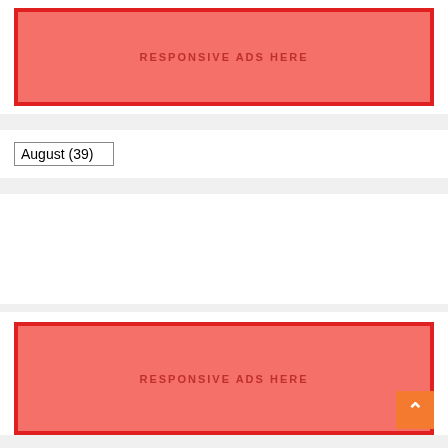[Figure (other): Red ad placeholder box with text RESPONSIVE ADS HERE]
August (39)
[Figure (other): Empty white content box]
[Figure (other): Red ad placeholder box with text RESPONSIVE ADS HERE]